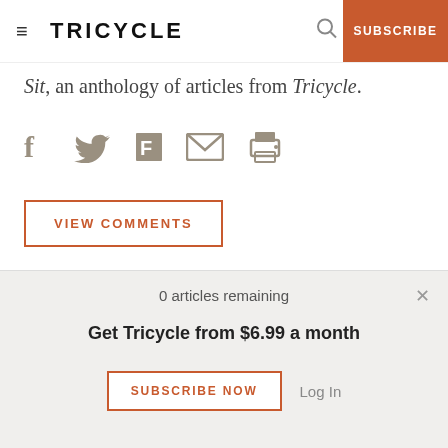TRICYCLE | SUBSCRIBE
Sit, an anthology of articles from Tricycle.
[Figure (infographic): Social sharing icons: Facebook, Twitter, Flipboard, Email, Print]
VIEW COMMENTS
[Figure (photo): Article thumbnail image with Tricycle badge]
0 articles remaining
Get Tricycle from $6.99 a month
SUBSCRIBE NOW  Log In